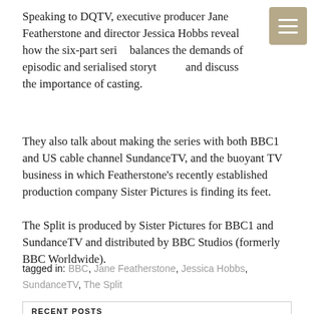Speaking to DQTV, executive producer Jane Featherstone and director Jessica Hobbs reveal how the six-part series balances the demands of episodic and serialised storytelling and discuss the importance of casting.
They also talk about making the series with both BBC1 and US cable channel SundanceTV, and the buoyant TV business in which Featherstone's recently established production company Sister Pictures is finding its feet.
The Split is produced by Sister Pictures for BBC1 and SundanceTV and distributed by BBC Studios (formerly BBC Worldwide).
tagged in: BBC, Jane Featherstone, Jessica Hobbs, SundanceTV, The Split
RECENT POSTS
Hooper's dream job
The road to Ridley